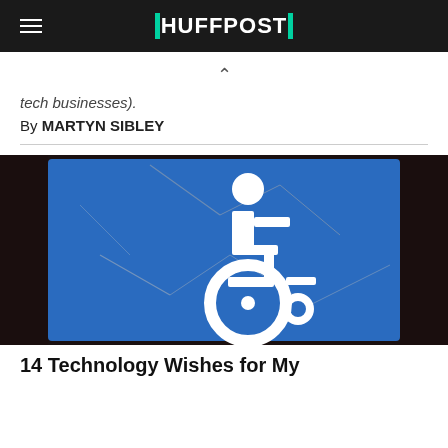HUFFPOST
tech businesses).
By MARTYN SIBLEY
[Figure (photo): A cracked blue wheelchair accessibility sign with white wheelchair symbol, framed by dark wood, with peeling and cracked surface]
14 Technology Wishes for My